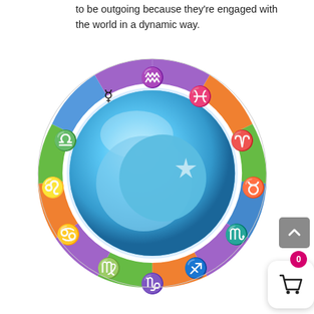to be outgoing because they're engaged with the world in a dynamic way.
[Figure (illustration): A circular zodiac wheel showing all 12 astrological signs arranged around a central blue sphere with a crescent moon and star. Each sign occupies a colored segment (purple, orange, green, blue) around the ring.]
[Figure (infographic): Shopping cart button with badge showing 0, and a scroll-up arrow button overlaid on the bottom-right of the image.]